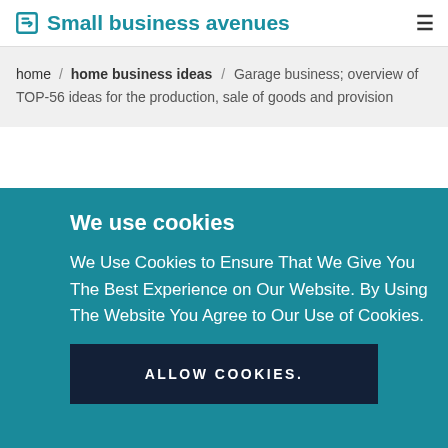Small business avenues
home / home business ideas / Garage business; overview of TOP-56 ideas for the production, sale of goods and provision
We use cookies
We Use Cookies to Ensure That We Give You The Best Experience on Our Website. By Using The Website You Agree to Our Use of Cookies.
ALLOW COOKIES.